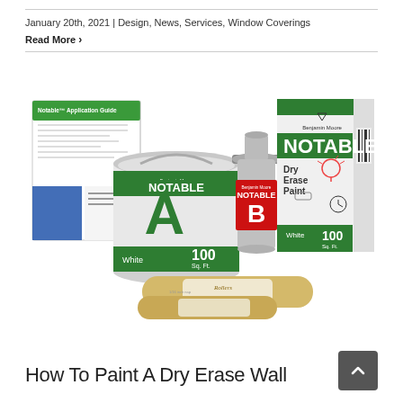January 20th, 2021 | Design, News, Services, Window Coverings
Read More >
[Figure (photo): Benjamin Moore Notable Dry Erase Paint product kit including Part A can (White, 100 Sq. Ft.), Part B bottle (Notable), a large Notable branded box (Dry Erase Paint, White, 100 Sq. Ft.), an Application Guide booklet, and a Microfiber Roller.]
How To Paint A Dry Erase Wall